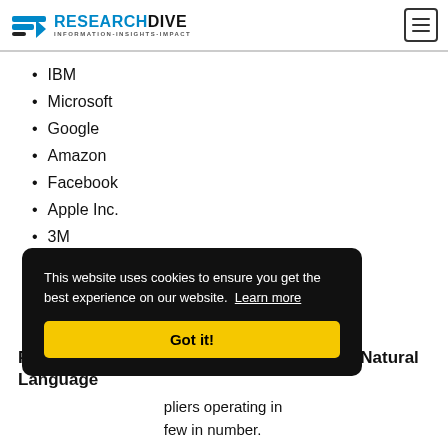RESEARCH DIVE — INFORMATION-INSIGHTS-IMPACT
IBM
Microsoft
Google
Amazon
Facebook
Apple Inc.
3M
Intel
Baidu, Inc.
SAS Institute Inc.
Porter's Five Forces Analysis for Natural Language
pliers operating in few in number. is high. market for natural language processing market is fragmented. Hence, there is
This website uses cookies to ensure you get the best experience on our website. Learn more Got it!